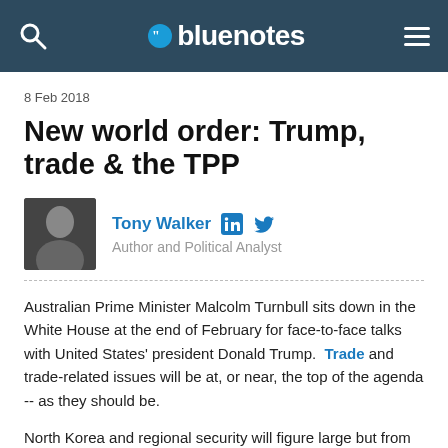bluenotes
8 Feb 2018
New world order: Trump, trade & the TPP
Tony Walker  Author and Political Analyst
Australian Prime Minister Malcolm Turnbull sits down in the White House at the end of February for face-to-face talks with United States' president Donald Trump. Trade and trade-related issues will be at, or near, the top of the agenda -- as they should be.
North Korea and regional security will figure large but from an